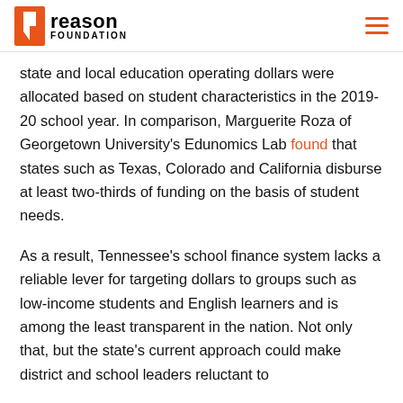Reason Foundation
state and local education operating dollars were allocated based on student characteristics in the 2019-20 school year. In comparison, Marguerite Roza of Georgetown University's Edunomics Lab found that states such as Texas, Colorado and California disburse at least two-thirds of funding on the basis of student needs.
As a result, Tennessee's school finance system lacks a reliable lever for targeting dollars to groups such as low-income students and English learners and is among the least transparent in the nation. Not only that, but the state's current approach could make district and school leaders reluctant to